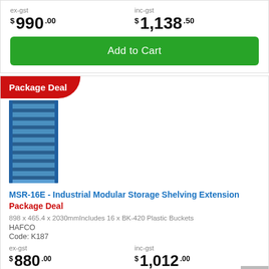ex-gst
$ 990.00
inc-gst
$ 1,138.50
Add to Cart
[Figure (photo): Blue industrial modular storage shelving unit with plastic buckets, tall tower style]
Package Deal
MSR-16E - Industrial Modular Storage Shelving Extension Package Deal
898 x 465.4 x 2030mmIncludes 16 x BK-420 Plastic Buckets
HAFCO
Code: K187
ex-gst
$ 880.00
inc-gst
$ 1,012.00
Add to Cart
Add K186 to Cart